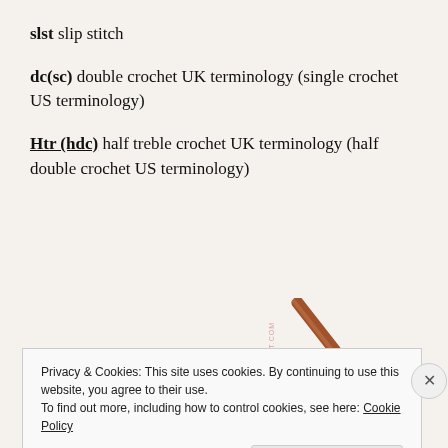slst slip stitch
dc(sc) double crochet UK terminology (single crochet US terminology)
Htr (hdc) half treble crochet UK terminology (half double crochet US terminology)
[Figure (photo): Crochet hook with blue yarn loop, photographed on white/cream background. Watermark text 'MELCROCHET.COM' along the side.]
Privacy & Cookies: This site uses cookies. By continuing to use this website, you agree to their use.
To find out more, including how to control cookies, see here: Cookie Policy
Close and accept